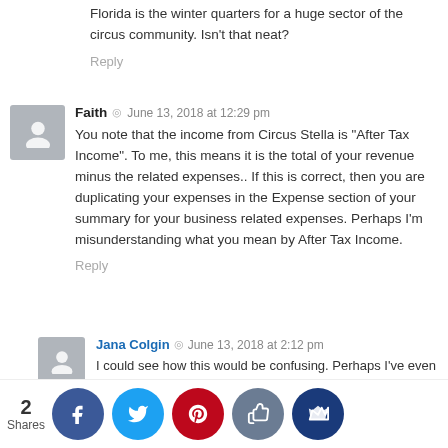Florida is the winter quarters for a huge sector of the circus community. Isn't that neat?
Reply
Faith  ◎  June 13, 2018 at 12:29 pm
You note that the income from Circus Stella is "After Tax Income". To me, this means it is the total of your revenue minus the related expenses.. If this is correct, then you are duplicating your expenses in the Expense section of your summary for your business related expenses. Perhaps I'm misunderstanding what you mean by After Tax Income.
Reply
Jana Colgin  ◎  June 13, 2018 at 2:12 pm
I could see how this would be confusing. Perhaps I've even labeled it wrong. I meant everything we made excluding only the income taxes we paid. So I didn't duplicate expenses, but I also didn't give you our net income after expenses that we end up with on our taxes. It's low!
[Figure (infographic): Social sharing bar with 2 Shares count, and buttons for Facebook (blue), Twitter (cyan), Pinterest (red), Like (grey), and Crown (dark blue)]